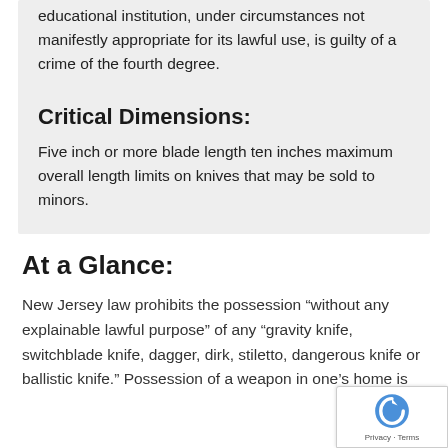educational institution, under circumstances not manifestly appropriate for its lawful use, is guilty of a crime of the fourth degree.
Critical Dimensions:
Five inch or more blade length ten inches maximum overall length limits on knives that may be sold to minors.
At a Glance:
New Jersey law prohibits the possession "without any explainable lawful purpose" of any "gravity knife, switchblade knife, dagger, dirk, stiletto, dangerous knife or ballistic knife." Possession of a weapon in one's home is